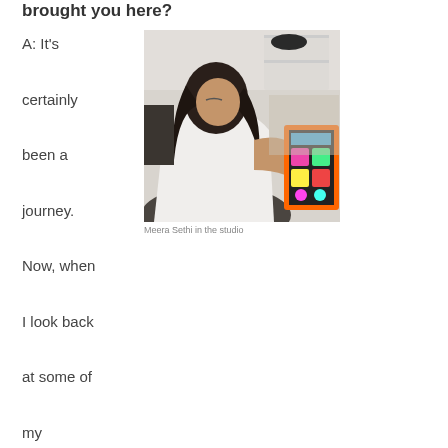brought you here?
A: It's certainly been a journey. Now, when I look back at some of my earliest
[Figure (photo): Meera Sethi seated in her studio, leaning forward and painting a colorful artwork with an orange border featuring floral and decorative patterns. She is wearing a white top and has dark hair. The studio background shows shelves and various materials.]
Meera Sethi in the studio
drawings and sketches, I see an interest in portraiture and depicting clothing. In fact, the only surviving artwork I have from when I was a child is a self-portrait done at age 5, in which I have attempted with much detail to convey the texture, colour and pattern of my plaid dress. When I rediscovered this drawing, I was